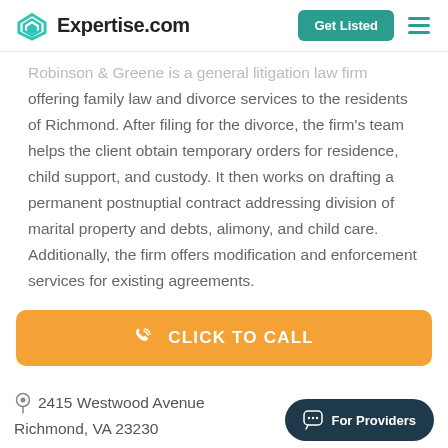Expertise.com | Get Listed
Robinson & Greene is a general litigation law firm offering family law and divorce services to the residents of Richmond. After filing for the divorce, the firm's team helps the client obtain temporary orders for residence, child support, and custody. It then works on drafting a permanent postnuptial contract addressing division of marital property and debts, alimony, and child care. Additionally, the firm offers modification and enforcement services for existing agreements.
CLICK TO CALL
2415 Westwood Avenue Richmond, VA 23230
For Providers